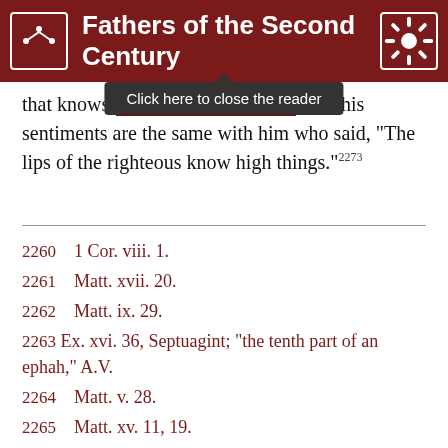Fathers of the Second Century
that knows [redacted]. For his sentiments are the same with him who said, “The lips of the righteous know high things.”²²⁷³
2260  1 Cor. viii. 1.
2261  Matt. xvii. 20.
2262  Matt. ix. 29.
2263  Ex. xvi. 36, Septuagint; “the tenth part of an ephah,” A.V.
2264  Matt. v. 28.
2265  Matt. xv. 11, 19.
2266  Matt. v. 8.